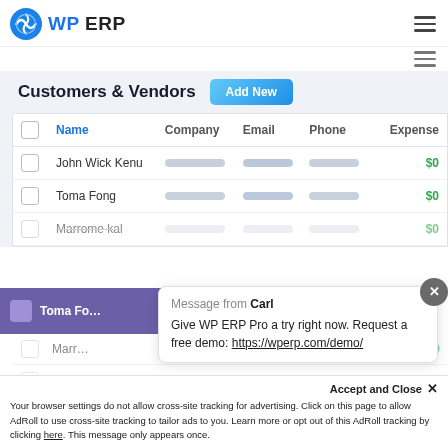[Figure (logo): WP ERP logo with blue globe icon and dark text 'WP ERP']
Customers & Vendors
|  | Name | Company | Email | Phone | Expense |
| --- | --- | --- | --- | --- | --- |
|  | John Wick Kenu | — | — | — | $0 |
|  | Toma Fong | — | — | — | $0 |
|  | Marrome kal | — | — | — | $0 |
|  | Toma Fong | — | — | — | $0 |
Message from Carl
Give WP ERP Pro a try right now. Request a free demo: https://wperp.com/demo/
Accept and Close ✕
Your browser settings do not allow cross-site tracking for advertising. Click on this page to allow AdRoll to use cross-site tracking to tailor ads to you. Learn more or opt out of this AdRoll tracking by clicking here. This message only appears once.